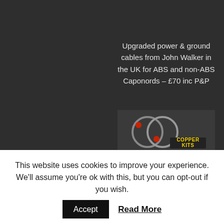Upgraded power & ground cables from John Walker in the UK for ABS and non-ABS Caponords – £70 inc P&P
[Figure (photo): Copper Kits product image showing cables with red connectors and yellow 'COPPER KITS' logo text]
This website uses cookies to improve your experience. We'll assume you're ok with this, but you can opt-out if you wish.
Accept   Read More